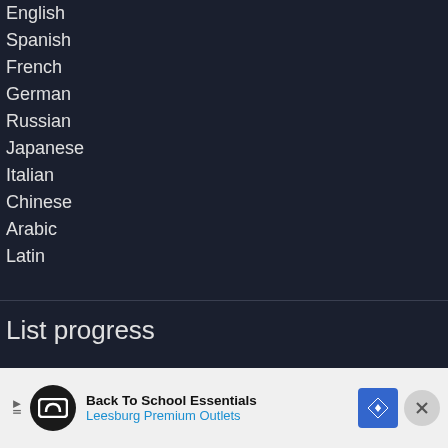English
Spanish
French
German
Russian
Japanese
Italian
Chinese
Arabic
Latin
List progress
[Figure (pie-chart): Partially visible pie/donut chart showing list progress, bottom portion cut off]
[Figure (infographic): Advertisement banner: Back To School Essentials - Leesburg Premium Outlets]